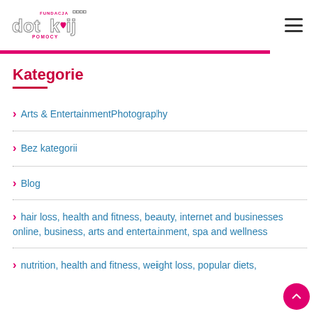[Figure (logo): Fundacja Dotknij Pomocy logo with stylized text 'dotknij' and 'FUNDACJA' and 'POMOCY' in pink and grey]
Kategorie
Arts & EntertainmentPhotography
Bez kategorii
Blog
hair loss, health and fitness, beauty, internet and businesses online, business, arts and entertainment, spa and wellness
nutrition, health and fitness, weight loss, popular diets,